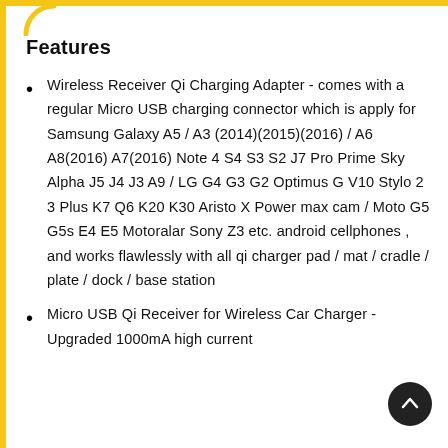Features
Wireless Receiver Qi Charging Adapter - comes with a regular Micro USB charging connector which is apply for Samsung Galaxy A5 / A3 (2014)(2015)(2016) / A6 A8(2016) A7(2016) Note 4 S4 S3 S2 J7 Pro Prime Sky Alpha J5 J4 J3 A9 / LG G4 G3 G2 Optimus G V10 Stylo 2 3 Plus K7 Q6 K20 K30 Aristo X Power max cam / Moto G5 G5s E4 E5 Motoralar Sony Z3 etc. android cellphones , and works flawlessly with all qi charger pad / mat / cradle / plate / dock / base station
Micro USB Qi Receiver for Wireless Car Charger - Upgraded 1000mA high current